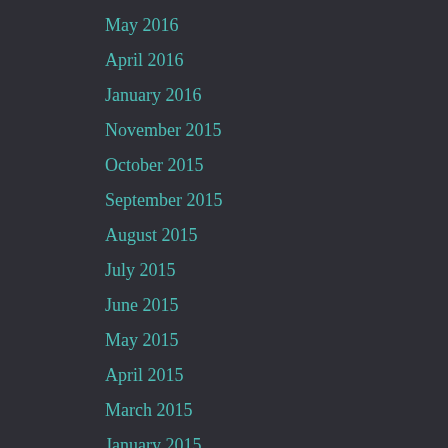May 2016
April 2016
January 2016
November 2015
October 2015
September 2015
August 2015
July 2015
June 2015
May 2015
April 2015
March 2015
January 2015
December 2014
November 2014